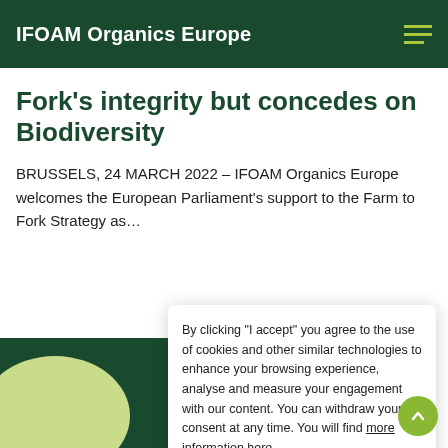IFOAM Organics Europe
Fork’s integrity but concedes on Biodiversity
BRUSSELS, 24 MARCH 2022 – IFOAM Organics Europe welcomes the European Parliament’s support to the Farm to Fork Strategy as…
[Figure (screenshot): Cookie consent modal overlay with text: By clicking “I accept” you agree to the use of cookies and other similar technologies to enhance your browsing experience, analyse and measure your engagement with our content. You can withdraw your consent at any time. You will find more information here. Buttons: I accept, I do not accept.]
By clicking “I accept” you agree to the use of cookies and other similar technologies to enhance your browsing experience, analyse and measure your engagement with our content. You can withdraw your consent at any time. You will find more information here.